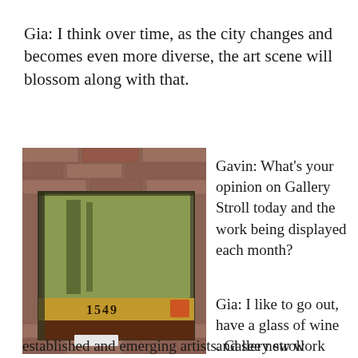Gia: I think over time, as the city changes and becomes even more diverse, the art scene will blossom along with that.
[Figure (photo): A painted artwork or aged metal box with a greenish square on top, a golden-brown middle band with text and a label reading '1549', set against a brick wall background.]
Gavin: What's your opinion on Gallery Stroll today and the work being displayed each month?
Gia: I like to go out, have a glass of wine and see new work from Utah's
established and emerging artists. Gallery stroll